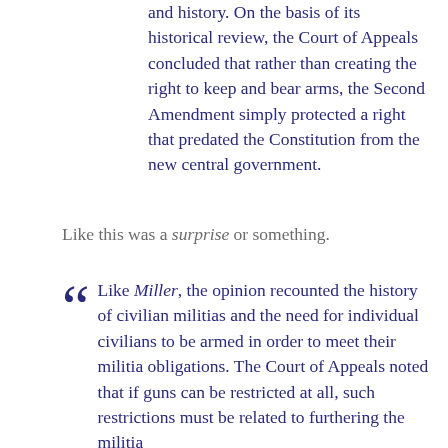and history. On the basis of its historical review, the Court of Appeals concluded that rather than creating the right to keep and bear arms, the Second Amendment simply protected a right that predated the Constitution from the new central government.
Like this was a surprise or something.
Like Miller, the opinion recounted the history of civilian militias and the need for individual civilians to be armed in order to meet their militia obligations. The Court of Appeals noted that if guns can be restricted at all, such restrictions must be related to furthering the militia